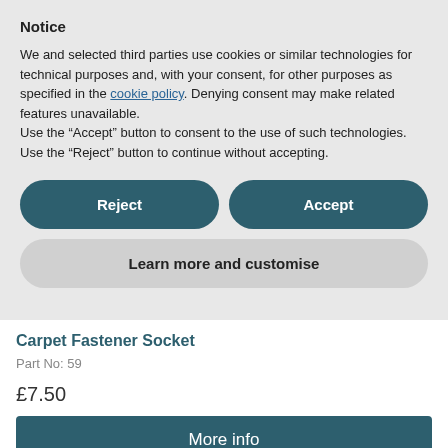Notice
We and selected third parties use cookies or similar technologies for technical purposes and, with your consent, for other purposes as specified in the cookie policy. Denying consent may make related features unavailable.
Use the “Accept” button to consent to the use of such technologies. Use the “Reject” button to continue without accepting.
Reject
Accept
Learn more and customise
Carpet Fastener Socket
Part No: 59
£7.50
More info